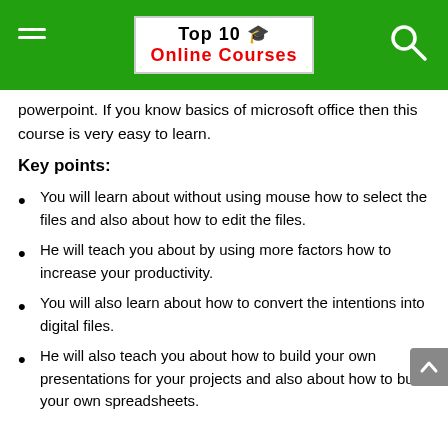Top 10 🎓 Online Courses
powerpoint. If you know basics of microsoft office then this course is very easy to learn.
Key points:
You will learn about without using mouse how to select the files and also about how to edit the files.
He will teach you about by using more factors how to increase your productivity.
You will also learn about how to convert the intentions into digital files.
He will also teach you about how to build your own presentations for your projects and also about how to build your own spreadsheets.